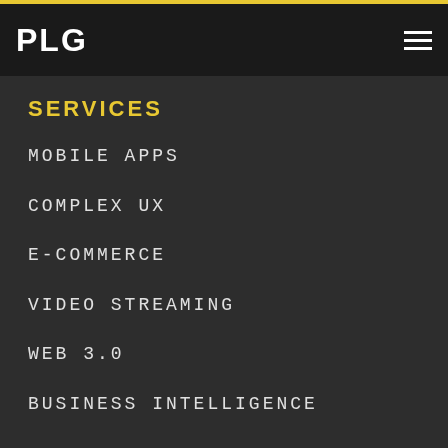PLG
SERVICES
MOBILE APPS
COMPLEX UX
E-COMMERCE
VIDEO STREAMING
WEB 3.0
BUSINESS INTELLIGENCE